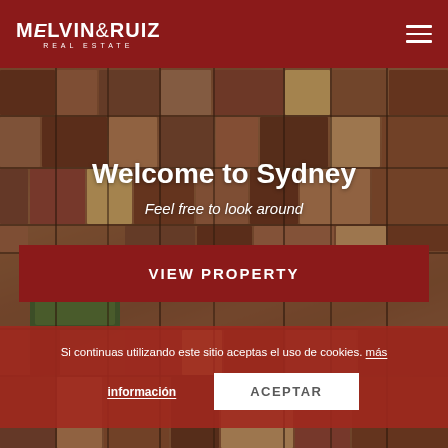MELVIN&RUIZ REAL ESTATE
[Figure (photo): Aerial view of a dense urban city with reddish-brown rooftop buildings, Barcelona-style block grid layout. Various buildings, streets, and a park visible from above.]
Welcome to Sydney
Feel free to look around
VIEW PROPERTY
Si continuas utilizando este sitio aceptas el uso de cookies. más información
ACEPTAR